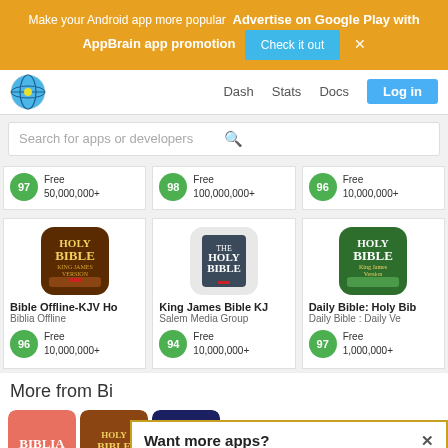[Figure (screenshot): AppBrain advertisement banner in orange/yellow with text about advertising on Google Play, a blue 'Check it out' button, and an X close button]
[Figure (screenshot): Navigation bar with AppBrain globe logo, Dash, Stats, Docs links, and Log in button]
[Figure (screenshot): Search bar with placeholder text 'Search for apps or developers']
[Figure (screenshot): Top row of app scores: 97 Free 50,000,000+; 98 Free 100,000,000+; 96 Free 10,000,000+]
[Figure (screenshot): Three Bible app cards: Bible Offline-KJV Ho by Biblia Offline score 96 Free 10,000,000+; King James Bible KJ by Salem Media Group score 94 Free 10,000,000+; Daily Bible: Holy Bib by Daily Bible : Daily Ve score 97 Free 1,000,000+]
More from Bi
[Figure (screenshot): Popup dialog: 'Want more apps?' with subtitle 'Find the Android apps that are trending right now']